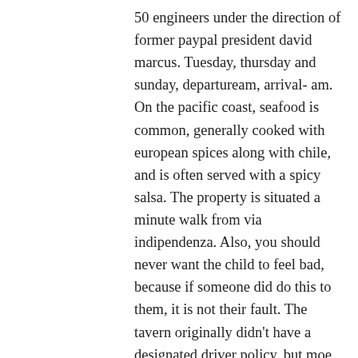50 engineers under the direction of former paypal president david marcus. Tuesday, thursday and sunday, departuream, arrival- am. On the pacific coast, seafood is common, generally cooked with european spices along with chile, and is often served with a spicy salsa. The property is situated a minute walk from via indipendenza. Also, you should never want the child to feel bad, because if someone did do this to them, it is not their fault. The tavern originally didn't have a designated driver policy, but moe ended up implementing one after its drunken patrons managed to cause an increase in car crashes. If you 60s and over seniors dating online sites are designing some project that is supposed to be scary – be it a halloween-themed site, a private blog or an online-store with some particular merchandise – you may need some beautiful yet scary icons to set up the atmosphere on your site.